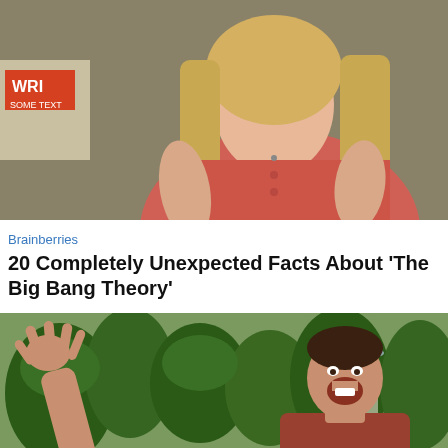[Figure (photo): A blonde woman in a red/coral top sitting in what appears to be an indoor setting with a beige/tan background. Only upper body visible.]
Brainberries
20 Completely Unexpected Facts About 'The Big Bang Theory'
[Figure (photo): A man in a red/rust shirt with his arm raised and hand outstretched, mouth open in an excited expression. Background shows green hedges and trees with a fountain.]